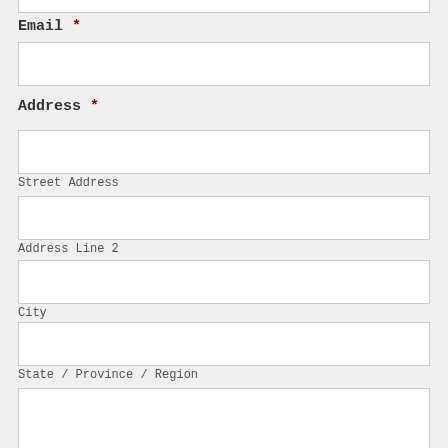Email *
Address *
Street Address
Address Line 2
City
State / Province / Region